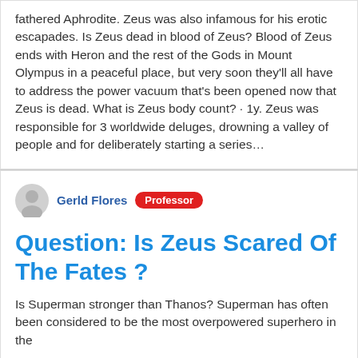fathered Aphrodite. Zeus was also infamous for his erotic escapades. Is Zeus dead in blood of Zeus? Blood of Zeus ends with Heron and the rest of the Gods in Mount Olympus in a peaceful place, but very soon they'll all have to address the power vacuum that's been opened now that Zeus is dead. What is Zeus body count? · 1y. Zeus was responsible for 3 worldwide deluges, drowning a valley of people and for deliberately starting a series…
Gerld Flores Professor
Question: Is Zeus Scared Of The Fates ?
Is Superman stronger than Thanos? Superman has often been considered to be the most overpowered superhero in the